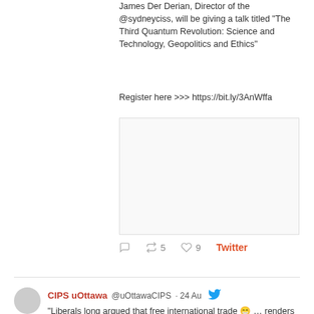James Der Derian, Director of the @sydneyciss, will be giving a talk titled "The Third Quantum Revolution: Science and Technology, Geopolitics and Ethics"
Register here >>> https://bit.ly/3AnWffa
[Figure (screenshot): Empty white image preview box]
Reply 0  Retweet 5  Like 9  Twitter
CIPS uOttawa @uOttawaCIPS · 24 Aug
"Liberals long argued that free international trade 😁 … renders war unnecessary, costly and irrational‼." Does this principle stand up in the shadow of a rising China🇨🇳, read this great new blog by @ssimon_chelsea to learn more 🔷 https://www.cips-cepi.ca/2022/08/23/economic-security-and-americas-chips-act/
[Figure (screenshot): Bottom of page showing partial circular profile image]